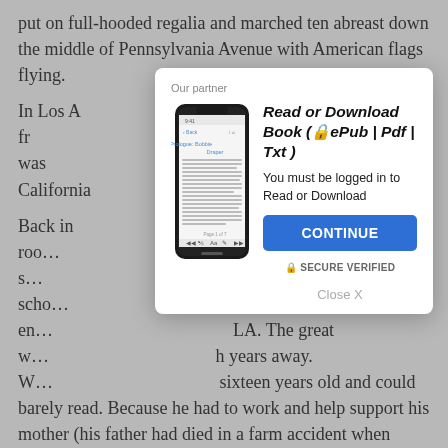put on full-hooded regalia and marched ten abreast down the middle of Pennsylvania Avenue with American flags flying.
In Los A... looked at the fr... Daily N... and was... California... ere, but there w...
Back in ... t to a two-roo... m, middle s... re was no scho... her. True en... LA. The great w... h years away. W... sixteen years old and could barely read. Because he had to work and help support his mother (his father had died in a farm accident when Booker was twelve). Booker was given a
[Figure (screenshot): Overlay modal dialog with phone image and 'Read or Download Book' prompt]
Our partner
Read or Download Book (🔒ePub | Pdf | Txt )
You must be logged in to Read or Download
CONTINUE
🔒 SECURE VERIFIED
Close X